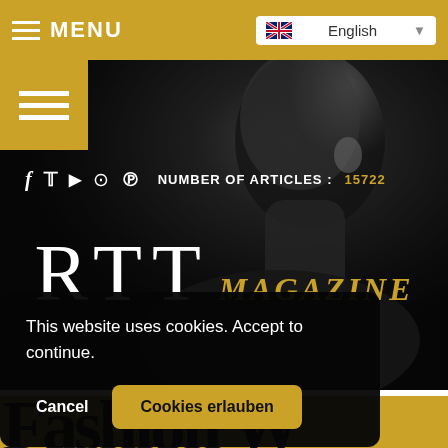MENU | English
[Figure (screenshot): Hero background with dark silhouette of a person in profile, black and white photograph]
f  Twitter  YouTube  Instagram  Pinterest  NUMBER OF ARTICLES : 15722
RTT MAGAZINE
This website uses cookies. Accept to continue.
Cancel  Cookies erlauben
Fashion W...